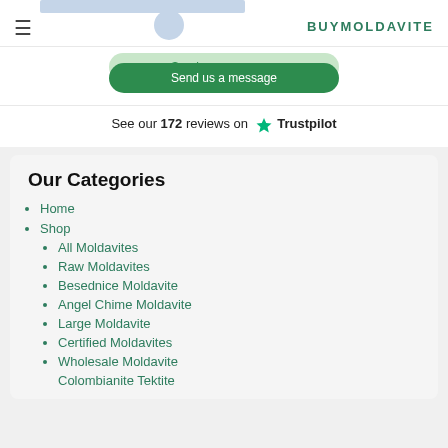BUYMOLDAVITE
Send us a message
See our 172 reviews on ★ Trustpilot
Our Categories
Home
Shop
All Moldavites
Raw Moldavites
Besednice Moldavite
Angel Chime Moldavite
Large Moldavite
Certified Moldavites
Wholesale Moldavite
Colombianite Tektite